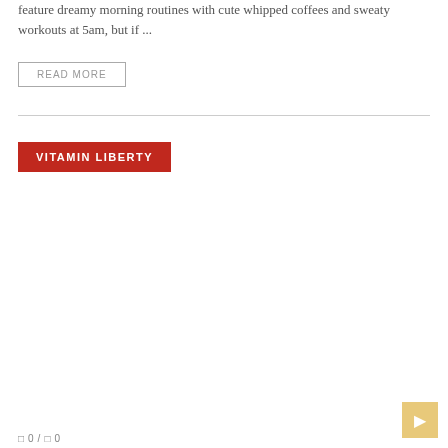feature dreamy morning routines with cute whipped coffees and sweaty workouts at 5am, but if ...
READ MORE
VITAMIN LIBERTY